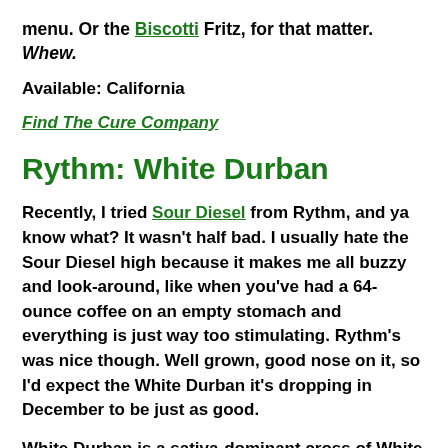menu. Or the Biscotti Fritz, for that matter. Whew.
Available: California
Find The Cure Company
Rythm: White Durban
Recently, I tried Sour Diesel from Rythm, and ya know what? It wasn't half bad. I usually hate the Sour Diesel high because it makes me all buzzy and look-around, like when you've had a 64-ounce coffee on an empty stomach and everything is just way too stimulating. Rythm's was nice though. Well grown, good nose on it, so I'd expect the White Durban it's dropping in December to be just as good.
White Durban is a sativa-dominant cross of White Fire OG and Durban Poison that smells sweet and lemony